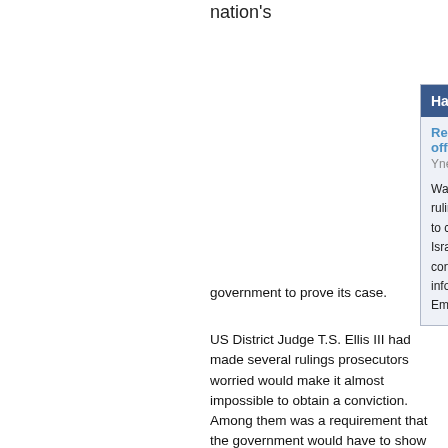nation's
Hard Conviction
Report: US may not try AIPAC officials
Ynet
Washington Post says series of court rulings making it difficult for government to convict two former lobbyists for pro-Israel advocacy group accused of conspiring to give national defense information to journalists, Israeli Embassy officials
government to prove its case.
US District Judge T.S. Ellis III had made several rulings prosecutors worried would make it almost impossible to obtain a conviction. Among them was a requirement that the government would have to show that Rosen and Weissman intended to harm the United States by sharing the national defense information.
The trial had been scheduled to start June 2 and had already been delayed four years.
Rosen and Weissman had not been charged under the Espionage Act, but the charges did fall under provisions of the 1917 law. Defense lawyers called it a World War I-era law that had never before be...
A former Defense Department official sur...